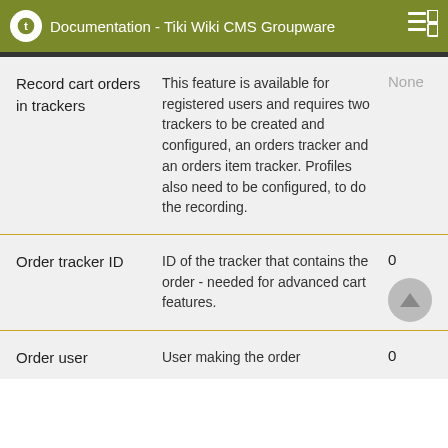Documentation - Tiki Wiki CMS Groupware
| Feature | Description | Default |
| --- | --- | --- |
| Record cart orders in trackers | This feature is available for registered users and requires two trackers to be created and configured, an orders tracker and an orders item tracker. Profiles also need to be configured, to do the recording. | None |
| Order tracker ID | ID of the tracker that contains the order - needed for advanced cart features. | 0 |
| Order user | User making the order | 0 |